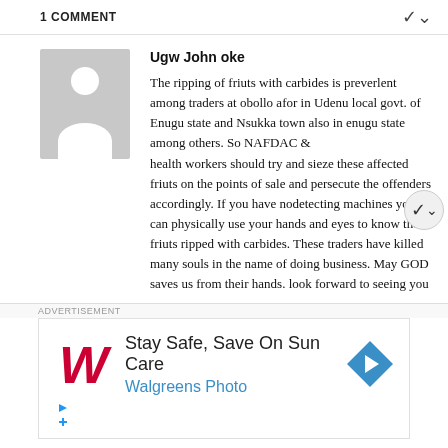1 COMMENT
Ugw John oke

The ripping of friuts with carbides is preverlent among traders at obollo afor in Udenu local govt. of Enugu state and Nsukka town also in enugu state among others. So NAFDAC & health workers should try and sieze these affected friuts on the points of sale and persecute the offenders accordingly. If you have nodetecting machines you can physically use your hands and eyes to know these friuts ripped with carbides. These traders have killed many souls in the name of doing business. May GOD saves us from their hands. look forward to seeing you
[Figure (other): Advertisement banner for Walgreens Photo: Stay Safe, Save On Sun Care]
ADVERTISEMENT